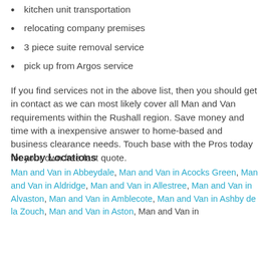kitchen unit transportation
relocating company premises
3 piece suite removal service
pick up from Argos service
If you find services not in the above list, then you should get in contact as we can most likely cover all Man and Van requirements within the Rushall region. Save money and time with a inexpensive answer to home-based and business clearance needs. Touch base with the Pros today for your own free fast quote.
Nearby Locations
Man and Van in Abbeydale, Man and Van in Acocks Green, Man and Van in Aldridge, Man and Van in Allestree, Man and Van in Alvaston, Man and Van in Amblecote, Man and Van in Ashby de la Zouch, Man and Van in Aston, Man and Van in ...